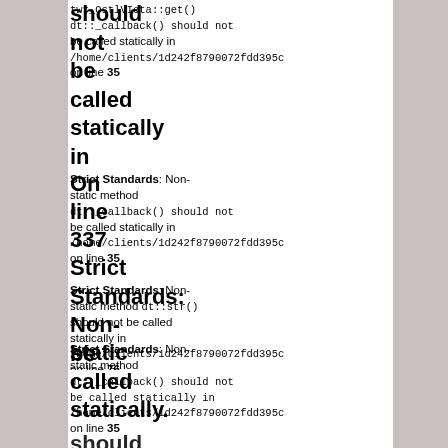twr_OstlVIeta::get() dt::_callback() should not be called statically in /home/clients/1d242f8790072fdd395c on line 35
Strict Standards: Non-static method dt::_callback() should not be called statically in /home/clients/1d242f8790072fdd395c on line 35
Strict Standards: Non-static method dt::str() should not be called statically in /home/clients/1d242f8790072fdd395c on line 76
Strict Standards: Non-static method dt::_callback() should not be called statically in /home/clients/1d242f8790072fdd395c on line 35
Strict Standards: Non-static method dt::_callback() should not be called statically in /home/clients/1d242f8790072fdd395c on line 35